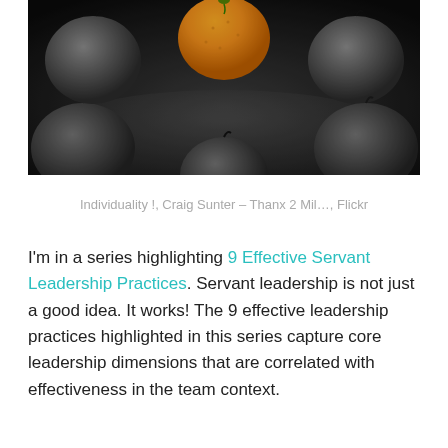[Figure (photo): A black and white photograph of several apples arranged in a semi-circle, with a single orange-colored orange at the top center, standing out from the monochrome apples. Dark moody background.]
Individuality !, Craig Sunter – Thanx 2 Mil…, Flickr
I'm in a series highlighting 9 Effective Servant Leadership Practices. Servant leadership is not just a good idea. It works! The 9 effective leadership practices highlighted in this series capture core leadership dimensions that are correlated with effectiveness in the team context.